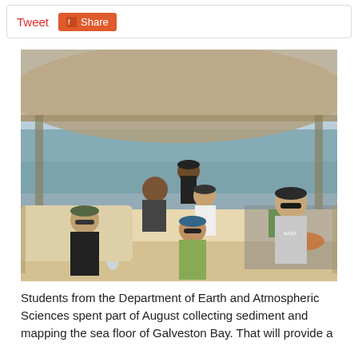Tweet  Share
[Figure (photo): Group of students sitting on a pontoon boat on Galveston Bay. Six people visible, one woman in green jacket in foreground wearing sunglasses and a blue hat, a woman in black on the left, three men and another woman in background. Water and sky visible behind them. Equipment and bags on the right side of the boat.]
Students from the Department of Earth and Atmospheric Sciences spent part of August collecting sediment and mapping the sea floor of Galveston Bay. That will provide a